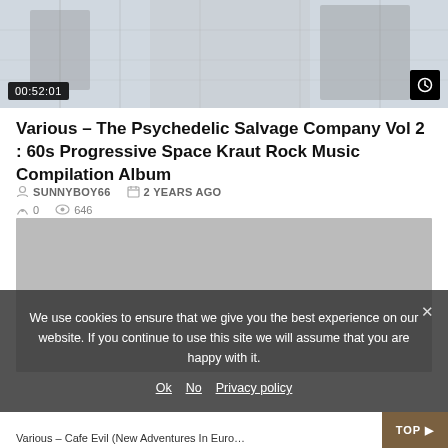[Figure (screenshot): Album art thumbnail showing illustrated figures, with time badge 00:52:01 and clock icon]
Various – The Psychedelic Salvage Company Vol 2 : 60s Progressive Space Kraut Rock Music Compilation Album
SUNNYBOY66   2 YEARS AGO   0   646
[Figure (screenshot): Second album or video thumbnail, grey placeholder]
We use cookies to ensure that we give you the best experience on our website. If you continue to use this site we will assume that you are happy with it.
Ok   No   Privacy policy
Various – Cafe Evil (New Adventures In European Music 1972-1980)